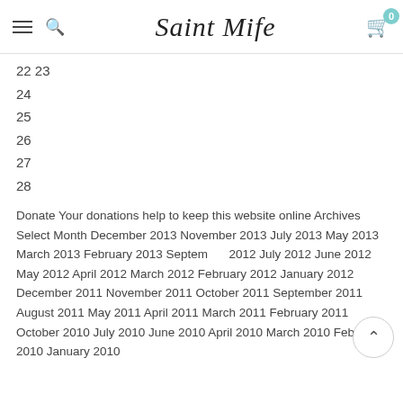Saint Mife — navigation header with hamburger menu, search, logo, and cart (0 items)
22 23
24
25
26
27
28
Donate Your donations help to keep this website online Archives Select Month December 2013 November 2013 July 2013 May 2013 March 2013 February 2013 September 2012 July 2012 June 2012 May 2012 April 2012 March 2012 February 2012 January 2012 December 2011 November 2011 October 2011 September 2011 August 2011 May 2011 April 2011 March 2011 February 2011 October 2010 July 2010 June 2010 April 2010 March 2010 February 2010 January 2010